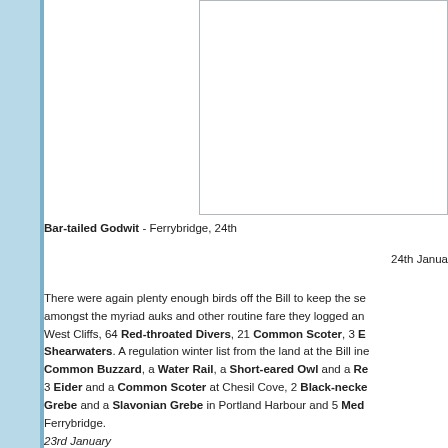[Figure (photo): Photograph of a Bar-tailed Godwit at Ferrybridge, partially visible, showing a white rectangle placeholder or image area.]
Bar-tailed Godwit - Ferrybridge, 24th
24th Janua
There were again plenty enough birds off the Bill to keep the se amongst the myriad auks and other routine fare they logged an West Cliffs, 64 Red-throated Divers, 21 Common Scoter, 3 E Shearwaters. A regulation winter list from the land at the Bill ine Common Buzzard, a Water Rail, a Short-eared Owl and a Re 3 Eider and a Common Scoter at Chesil Cove, 2 Black-necke Grebe and a Slavonian Grebe in Portland Harbour and 5 Med Ferrybridge.
23rd January